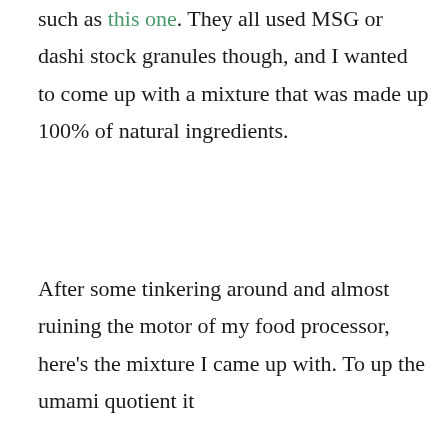such as this one. They all used MSG or dashi stock granules though, and I wanted to come up with a mixture that was made up 100% of natural ingredients.
After some tinkering around and almost ruining the motor of my food processor, here's the mixture I came up with. To up the umami quotient it has full 100% trace of find...